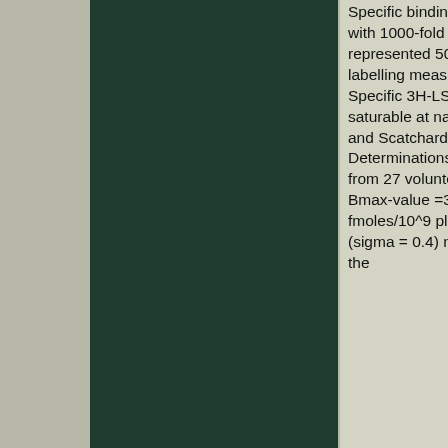[Figure (photo): Dark green rectangular panel, likely an autoradiograph or gel image, occupying the left portion of the page.]
Specific binding, defined by inhibition with 1000-fold excess spiperone, represented 500f total membrane labelling measured at 1 nM 3H-LSD. Specific 3H-LSD binding was saturable at nanomolar concentrations and Scatchard plots were rectilinear. Determinations in platelet membranes from 27 volunteers revealed a mean Bmax-value =32 (sigma =7) fmoles/10^9 platelets and a KD=1.0 (sigma = 0.4) nM. For 21 individuals the